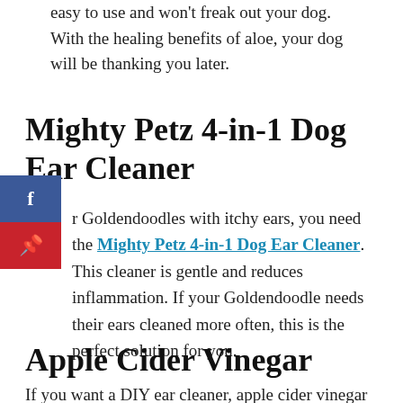easy to use and won't freak out your dog. With the healing benefits of aloe, your dog will be thanking you later.
Mighty Petz 4-in-1 Dog Ear Cleaner
r Goldendoodles with itchy ears, you need the Mighty Petz 4-in-1 Dog Ear Cleaner. This cleaner is gentle and reduces inflammation. If your Goldendoodle needs their ears cleaned more often, this is the perfect solution for you.
Apple Cider Vinegar
If you want a DIY ear cleaner, apple cider vinegar